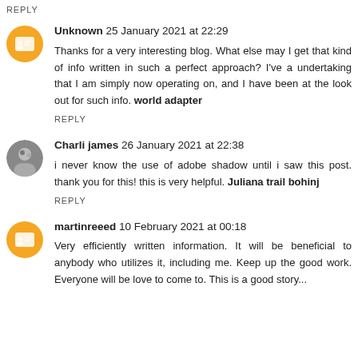REPLY
Unknown 25 January 2021 at 22:29
Thanks for a very interesting blog. What else may I get that kind of info written in such a perfect approach? I've a undertaking that I am simply now operating on, and I have been at the look out for such info. world adapter
REPLY
Charli james 26 January 2021 at 22:38
i never know the use of adobe shadow until i saw this post. thank you for this! this is very helpful. Juliana trail bohinj
REPLY
martinreeed 10 February 2021 at 00:18
Very efficiently written information. It will be beneficial to anybody who utilizes it, including me. Keep up the good work. Everyone will be love to come to. This is a good story...